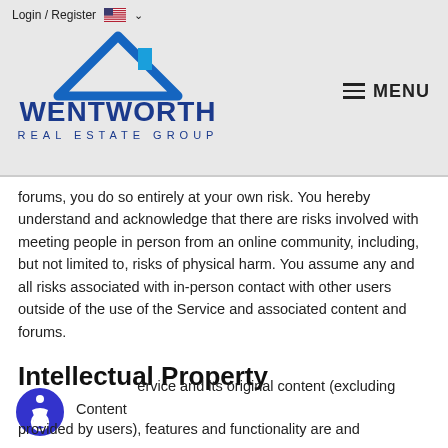Login / Register | MENU | Wentworth Real Estate Group
forums, you do so entirely at your own risk. You hereby understand and acknowledge that there are risks involved with meeting people in person from an online community, including, but not limited to, risks of physical harm. You assume any and all risks associated with in-person contact with other users outside of the use of the Service and associated content and forums.
Intellectual Property
ervice and its original content (excluding Content provided by users), features and functionality are and